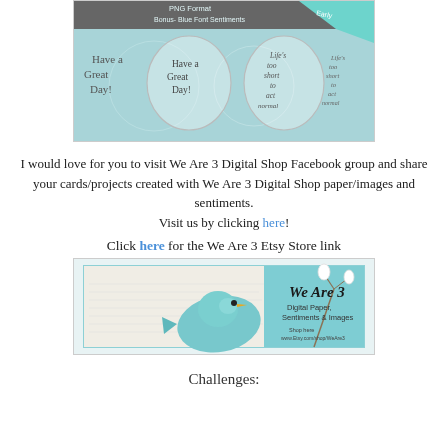[Figure (illustration): Digital stamp product preview showing 'Have a Great Day!' sentiments and 'Life's too short to act normal' sentiment circles, teal/blue background, with 'PNG Format Bonus-Blue Font Sentiments' text and 'Early...' ribbon]
I would love for you to visit We Are 3 Digital Shop Facebook group and share your cards/projects created with We Are 3 Digital Shop paper/images and sentiments.
Visit us by clicking here!
Click here for the We Are 3 Etsy Store link
[Figure (illustration): We Are 3 Digital Shop banner ad showing a teal bird, cotton flowers, and text: We Are 3, Digital Paper, Sentiments & Images, Shop here www.Etsy.com/shop/WeAre3]
Challenges: